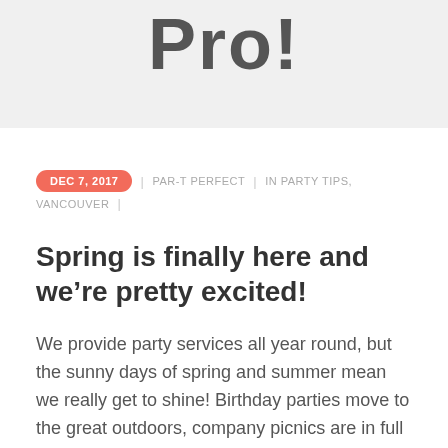Pro!
DEC 7, 2017  |  PAR-T PERFECT  |  IN PARTY TIPS, VANCOUVER  |
Spring is finally here and we’re pretty excited!
We provide party services all year round, but the sunny days of spring and summer mean we really get to shine! Birthday parties move to the great outdoors, company picnics are in full swing, there are holidays, BBQs, fundraisers, festivals and block parties. For whatever reason you choose, let’s get outside and celebrate!